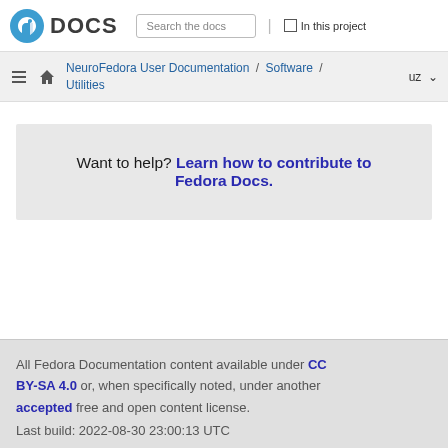Fedora DOCS | Search the docs | In this project
NeuroFedora User Documentation / Software / Utilities | uz
Want to help? Learn how to contribute to Fedora Docs.
All Fedora Documentation content available under CC BY-SA 4.0 or, when specifically noted, under another accepted free and open content license.
Last build: 2022-08-30 23:00:13 UTC